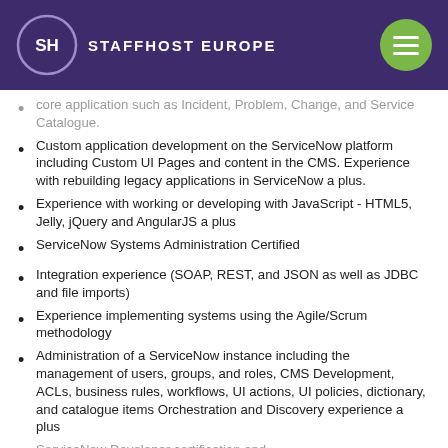STAFFHOST EUROPE
core application such as Incident, Problem, Change, and Service Catalogue.
Custom application development on the ServiceNow platform including Custom UI Pages and content in the CMS. Experience with rebuilding legacy applications in ServiceNow a plus.
Experience with working or developing with JavaScript - HTML5, Jelly, jQuery and AngularJS a plus
ServiceNow Systems Administration Certified
Integration experience (SOAP, REST, and JSON as well as JDBC and file imports)
Experience implementing systems using the Agile/Scrum methodology
Administration of a ServiceNow instance including the management of users, groups, and roles, CMS Development, ACLs, business rules, workflows, UI actions, UI policies, dictionary, and catalogue items Orchestration and Discovery experience a plus
ServiceNow Developer certification and...